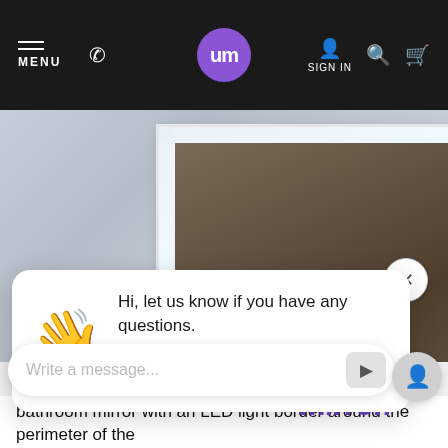MENU | UM logo | phone | SIGN IN | search | cart
[Figure (photo): Close-up of a bathroom mirror with LED light border around the perimeter, showing white frame and dark reflective surface against a light gray background]
[Figure (screenshot): Website chat popup overlay with waving hand emoji, message 'Hi, let us know if you have any questions.' with 'Chat now' (purple button) and 'Just browsing' (light purple button) options. Below is a message input bar with placeholder 'Write a message...' and a send button.]
bathroom mirror with an LED light border around the perimeter of the